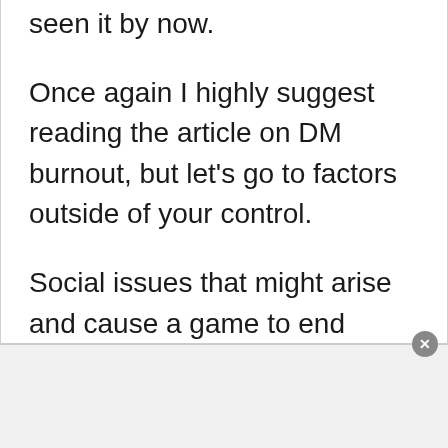seen it by now.
Once again I highly suggest reading the article on DM burnout, but let's go to factors outside of your control.
Social issues that might arise and cause a game to end abruptly.